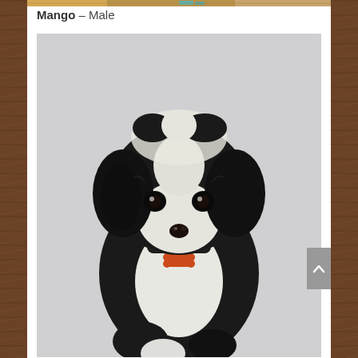[Figure (photo): Top strip image showing a puppy in a basket, partially cropped at the top of the page]
Mango – Male
[Figure (photo): A black and white puppy (Sheepadoodle or similar breed) sitting upright against a grey background, wearing an orange bone-shaped collar tag]